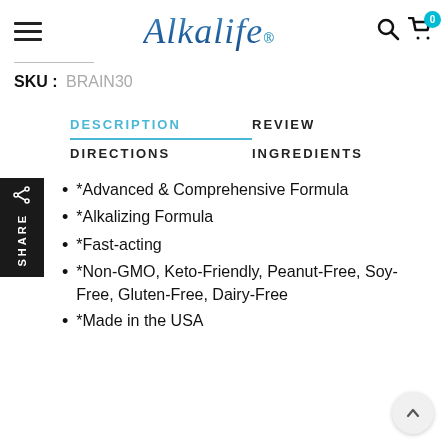Alkalife® — Search, Cart (0)
SKU : BRAIN30
DESCRIPTION
REVIEW
DIRECTIONS
INGREDIENTS
*Advanced & Comprehensive Formula
*Alkalizing Formula
*Fast-acting
*Non-GMO, Keto-Friendly, Peanut-Free, Soy-Free, Gluten-Free, Dairy-Free
*Made in the USA